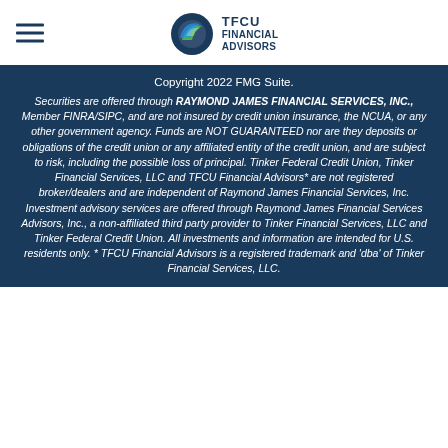[Figure (logo): TFCU Financial Advisors logo with circular green/blue icon and text]
Copyright 2022 FMG Suite.
Securities are offered through RAYMOND JAMES FINANCIAL SERVICES, INC., Member FINRA/SIPC, and are not insured by credit union insurance, the NCUA, or any other government agency. Funds are NOT GUARANTEED nor are they deposits or obligations of the credit union or any affiliated entity of the credit union, and are subject to risk, including the possible loss of principal. Tinker Federal Credit Union, Tinker Financial Services, LLC and TFCU Financial Advisors* are not registered broker/dealers and are independent of Raymond James Financial Services, Inc. Investment advisory services are offered through Raymond James Financial Services Advisors, Inc., a non-affiliated third party provider to Tinker Financial Services, LLC and Tinker Federal Credit Union. All investments and information are intended for U.S. residents only. * TFCU Financial Advisors is a registered trademark and 'dba' of Tinker Financial Services, LLC.